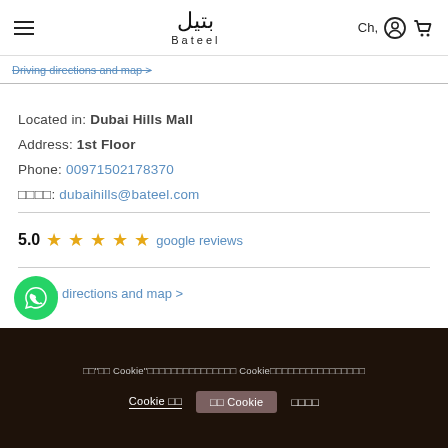Bateel — Ch, [user icon] [cart icon]
Driving directions and map >
Located in: Dubai Hills Mall
Address: 1st Floor
Phone: 00971502178370
□□□□: dubaihills@bateel.com
5.0 ★★★★★ google reviews
Driving directions and map >
[Figure (logo): WhatsApp floating button icon (green circle with phone handset)]
□□"□□ Cookie"□□□□□□□□□□□□□□□ Cookie□□□□□□□□□□□□□□□□  Cookie □□  □□ Cookie  □□□□